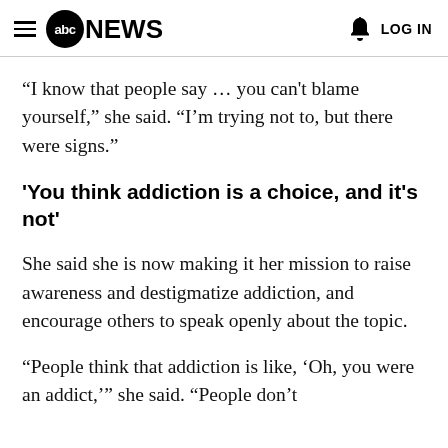abc NEWS  LOG IN
“I know that people say … you can’t blame yourself,” she said. “I’m trying not to, but there were signs.”
'You think addiction is a choice, and it's not'
She said she is now making it her mission to raise awareness and destigmatize addiction, and encourage others to speak openly about the topic.
“People think that addiction is like, ‘Oh, you were an addict,’” she said. “People don’t